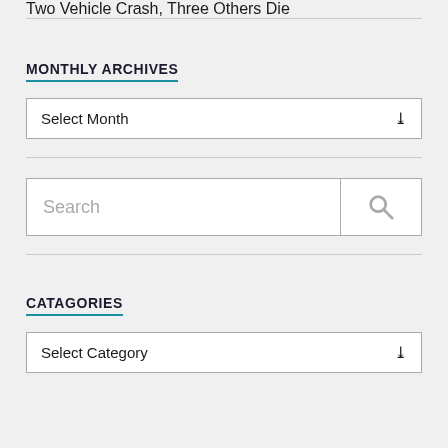Two Vehicle Crash, Three Others Die
MONTHLY ARCHIVES
Select Month
[Figure (other): Search bar with text input field placeholder 'Search' and a search icon button on the right]
CATAGORIES
Select Category